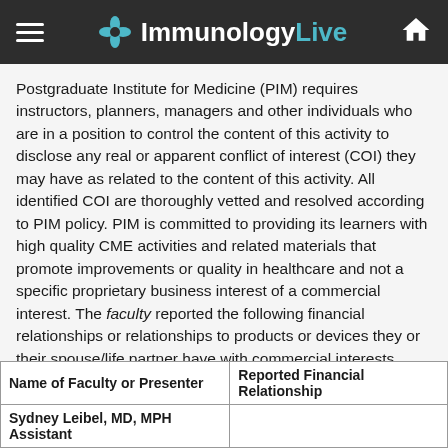ImmunologyLive
Postgraduate Institute for Medicine (PIM) requires instructors, planners, managers and other individuals who are in a position to control the content of this activity to disclose any real or apparent conflict of interest (COI) they may have as related to the content of this activity. All identified COI are thoroughly vetted and resolved according to PIM policy. PIM is committed to providing its learners with high quality CME activities and related materials that promote improvements or quality in healthcare and not a specific proprietary business interest of a commercial interest. The faculty reported the following financial relationships or relationships to products or devices they or their spouse/life partner have with commercial interests related to the content of this CME activity:
| Name of Faculty or Presenter | Reported Financial Relationship |
| --- | --- |
| Sydney Leibel, MD, MPH Assistant |  |